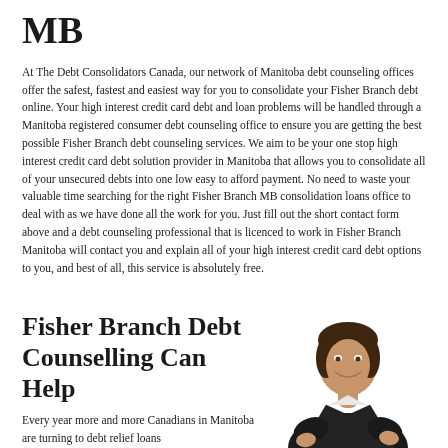MB
At The Debt Consolidators Canada, our network of Manitoba debt counseling offices offer the safest, fastest and easiest way for you to consolidate your Fisher Branch debt online. Your high interest credit card debt and loan problems will be handled through a Manitoba registered consumer debt counseling office to ensure you are getting the best possible Fisher Branch debt counseling services. We aim to be your one stop high interest credit card debt solution provider in Manitoba that allows you to consolidate all of your unsecured debts into one low easy to afford payment. No need to waste your valuable time searching for the right Fisher Branch MB consolidation loans office to deal with as we have done all the work for you. Just fill out the short contact form above and a debt counseling professional that is licenced to work in Fisher Branch Manitoba will contact you and explain all of your high interest credit card debt options to you, and best of all, this service is absolutely free.
Fisher Branch Debt Counselling Can Help
Every year more and more Canadians in Manitoba are turning to debt relief loans
[Figure (photo): Photo of a smiling woman in a dark blazer, shown from waist up, with arms positioned confidently]